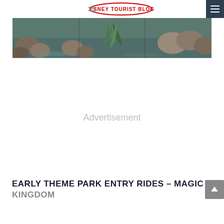DISNEY TOURIST BLOG
[Figure (photo): Panoramic photo of a natural scene with rocks, water, and tropical palm-like vegetation in a theme park setting.]
Advertisement
EARLY THEME PARK ENTRY RIDES – MAGIC KINGDOM